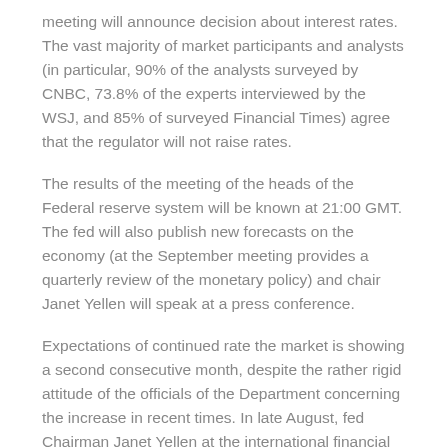meeting will announce decision about interest rates. The vast majority of market participants and analysts (in particular, 90% of the analysts surveyed by CNBC, 73.8% of the experts interviewed by the WSJ, and 85% of surveyed Financial Times) agree that the regulator will not raise rates.
The results of the meeting of the heads of the Federal reserve system will be known at 21:00 GMT. The fed will also publish new forecasts on the economy (at the September meeting provides a quarterly review of the monetary policy) and chair Janet Yellen will speak at a press conference.
Expectations of continued rate the market is showing a second consecutive month, despite the rather rigid attitude of the officials of the Department concerning the increase in recent times. In late August, fed Chairman Janet Yellen at the international financial conference in Jackson hole said that the regulator continues to consider a gradual increase